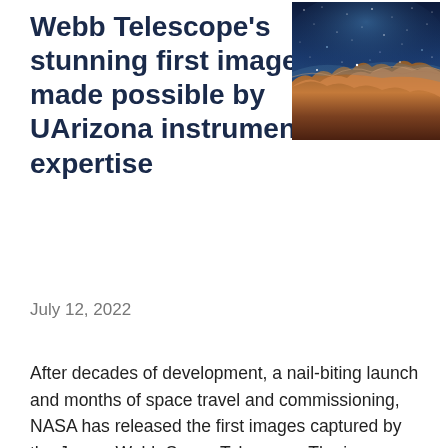Webb Telescope's stunning first images made possible by UArizona instruments and expertise
[Figure (photo): James Webb Space Telescope first image showing the Cosmic Cliffs — a star-forming region in the Carina Nebula. Deep blue star field at top fading to orange and brown rocky nebula formations below.]
July 12, 2022
After decades of development, a nail-biting launch and months of space travel and commissioning, NASA has released the first images captured by the James Webb Space Telescope. The images hint at the beginning of years of space science, made possible in part by the 21 UArizona researchers who have played a role in developing and managing Webb's